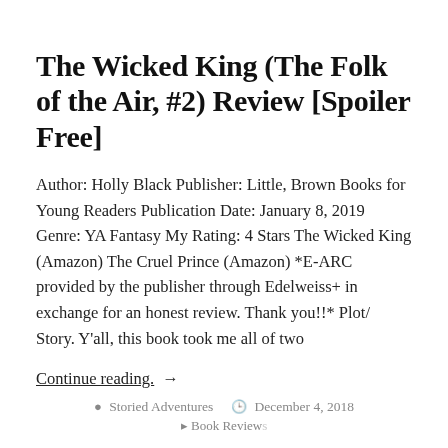The Wicked King (The Folk of the Air, #2) Review [Spoiler Free]
Author: Holly Black Publisher: Little, Brown Books for Young Readers Publication Date: January 8, 2019 Genre: YA Fantasy My Rating: 4 Stars The Wicked King (Amazon) The Cruel Prince (Amazon) *E-ARC provided by the publisher through Edelweiss+ in exchange for an honest review. Thank you!!* Plot/ Story. Y'all, this book took me all of two
Continue reading. →
Storied Adventures   December 4, 2018   Book Reviews